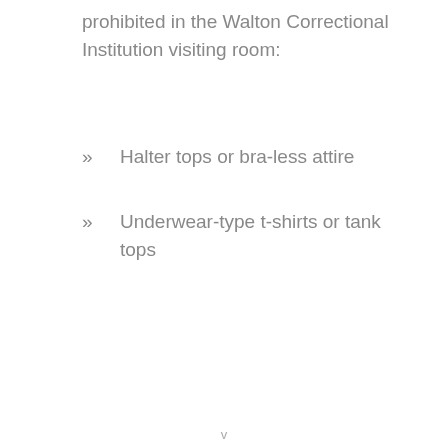prohibited in the Walton Correctional Institution visiting room:
Halter tops or bra-less attire
Underwear-type t-shirts or tank tops
v